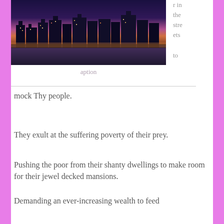[Figure (photo): Nighttime cityscape photo of a city skyline with illuminated skyscrapers reflected on water, featuring purple and orange tones in the sky]
aption
er in the streets to mock Thy people.
They exult at the suffering poverty of their prey.
Pushing the poor from their shanty dwellings to make room for their jewel decked mansions.
Demanding an ever-increasing wealth to feed theses sharks of the land.
They hear not the father's please of mercy for his children's empty bellies,